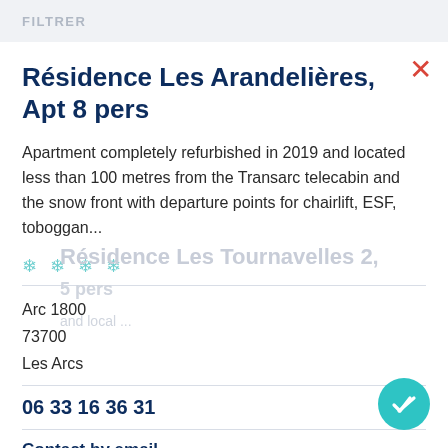FILTRER
Résidence Les Arandelières, Apt 8 pers
Apartment completely refurbished in 2019 and located less than 100 metres from the Transarc telecabin and the snow front with departure points for chairlift, ESF, toboggan...
❄ ❄ ❄ ❄
Arc 1800
73700
Les Arcs
06 33 16 36 31
Contact by email